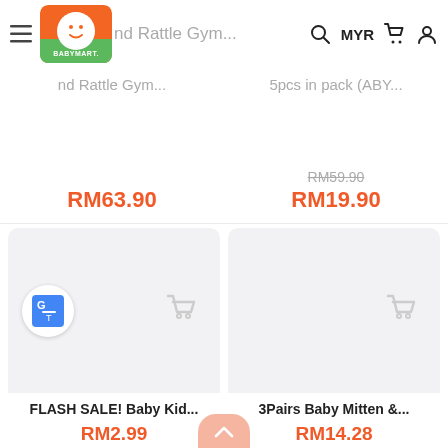[Figure (screenshot): Babymart logo - orange/green circle with baby face]
nd Rattle Gym...
5pcs in pack (ABY...
RM59.90 (strikethrough)
RM63.90
RM19.90
[Figure (screenshot): Product card left - FLASH SALE! Baby Kid... placeholder image with Google Translate badge overlay and faint cart icon]
[Figure (screenshot): Product card right - 3Pairs Baby Mitten &... placeholder image with faint cart icon]
FLASH SALE! Baby Kid...
RM2.99
3Pairs Baby Mitten &...
RM14.28